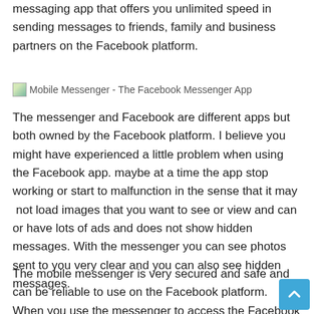messaging app that offers you unlimited speed in sending messages to friends, family and business partners on the Facebook platform.
[Figure (photo): Mobile Messenger - The Facebook Messenger App (broken image placeholder with alt text)]
The messenger and Facebook are different apps but both owned by the Facebook platform. I believe you might have experienced a little problem when using the Facebook app. maybe at a time the app stop working or start to malfunction in the sense that it may  not load images that you want to see or view and can or have lots of ads and does not show hidden messages. With the messenger you can see photos sent to you very clear and you can also see hidden messages.
The mobile messenger is very secured and safe and can be reliable to use on the Facebook platform. When you use the messenger to access the Facebook platform you will enjoy it